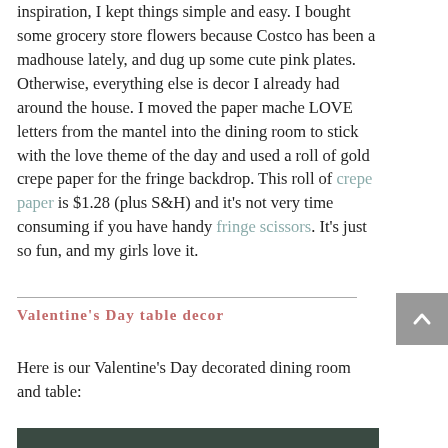inspiration, I kept things simple and easy. I bought some grocery store flowers because Costco has been a madhouse lately, and dug up some cute pink plates. Otherwise, everything else is decor I already had around the house. I moved the paper mache LOVE letters from the mantel into the dining room to stick with the love theme of the day and used a roll of gold crepe paper for the fringe backdrop. This roll of crepe paper is $1.28 (plus S&H) and it's not very time consuming if you have handy fringe scissors. It's just so fun, and my girls love it.
Valentine's Day table decor
Here is our Valentine's Day decorated dining room and table:
[Figure (photo): Bottom edge of a photo showing a decorated dining room, partially visible at the very bottom of the page.]